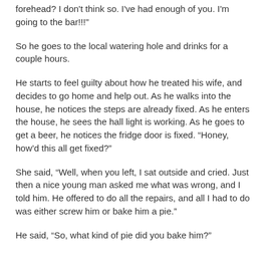forehead? I don't think so. I've had enough of you. I'm going to the bar!!!"
So he goes to the local watering hole and drinks for a couple hours.
He starts to feel guilty about how he treated his wife, and decides to go home and help out. As he walks into the house, he notices the steps are already fixed. As he enters the house, he sees the hall light is working. As he goes to get a beer, he notices the fridge door is fixed. “Honey, how’d this all get fixed?”
She said, “Well, when you left, I sat outside and cried. Just then a nice young man asked me what was wrong, and I told him. He offered to do all the repairs, and all I had to do was either screw him or bake him a pie.”
He said, “So, what kind of pie did you bake him?”